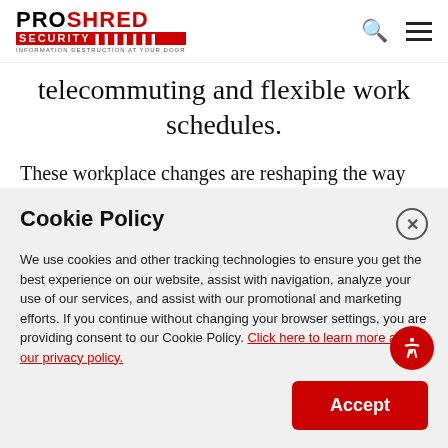PROSHRED SECURITY — INFORMATION DESTRUCTION AT YOUR DOOR
telecommuting and flexible work schedules.
These workplace changes are reshaping the way we do business. More than ever before, companies are relying on technology to conduct videoconferences
Cookie Policy
We use cookies and other tracking technologies to ensure you get the best experience on our website, assist with navigation, analyze your use of our services, and assist with our promotional and marketing efforts. If you continue without changing your browser settings, you are providing consent to our Cookie Policy. Click here to learn more about our privacy policy.